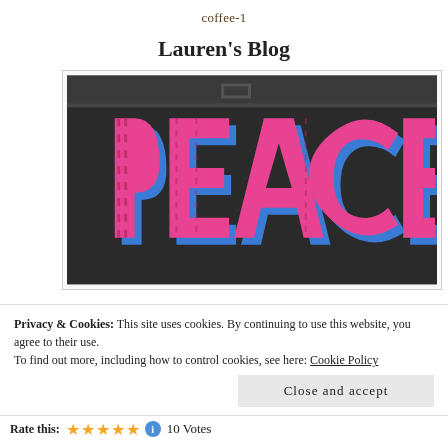coffee-1
Lauren's Blog
[Figure (photo): Graffiti/street art showing the word 'PEACE' in large 3D block letters, pink and blue colors on a dark background]
Privacy & Cookies: This site uses cookies. By continuing to use this website, you agree to their use.
To find out more, including how to control cookies, see here: Cookie Policy
Close and accept
Rate this: ★★★★★ 10 Votes